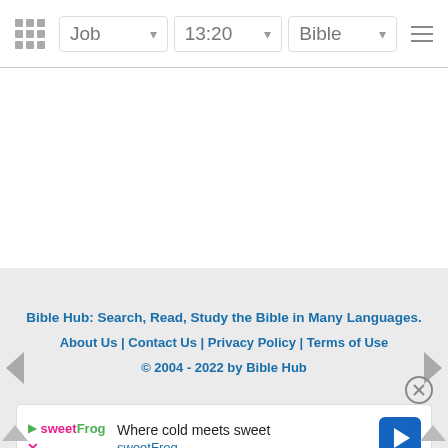Job | 13:20 | Bible
Bible Hub: Search, Read, Study the Bible in Many Languages.
About Us | Contact Us | Privacy Policy | Terms of Use
© 2004 - 2022 by Bible Hub
[Figure (screenshot): Advertisement for sweetFrog: 'Where cold meets sweet' with sweetFrog logo and navigation arrow icon]
Where cold meets sweet sweetFrog